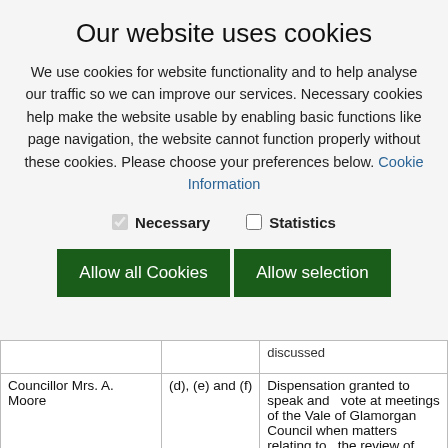Our website uses cookies
We use cookies for website functionality and to help analyse our traffic so we can improve our services. Necessary cookies help make the website usable by enabling basic functions like page navigation, the website cannot function properly without these cookies. Please choose your preferences below. Cookie Information
Necessary (checked)
Statistics (unchecked)
Allow all Cookies | Allow selection
|  |  | discussed |
| --- | --- | --- |
| Councillor Mrs. A. Moore | (d), (e) and (f) | Dispensation granted to speak and   vote at meetings of the Vale of Glamorgan Council when matters relating to   the review of Council employment terms and conditions are |